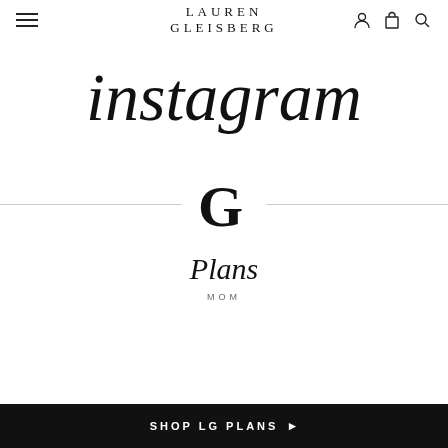LAUREN GLEISBERG
instagram
[Figure (logo): Stylized capital G logo for Lauren Gleisberg brand, centered between two horizontal lines]
Plans
MOM
SHOP LG PLANS ▶